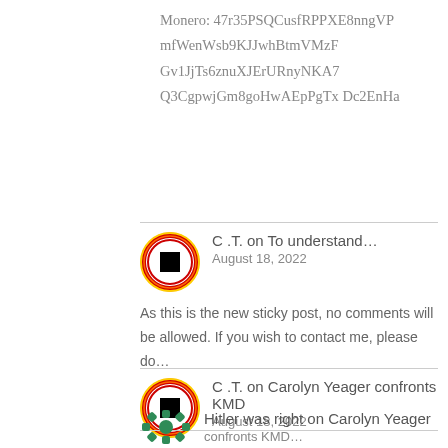Monero: 47r35PSQCusfRPPXE8nngVPmfWenWsb9KJJwhBtmVMzFGv1JjTs6znuXJErURnyNKA7Q3CgpwjGm8goHwAEpPgTx Dc2EnHa
C .T. on To understand…
August 18, 2022
As this is the new sticky post, no comments will be allowed. If you wish to contact me, please do…
C .T. on Carolyn Yeager confronts KMD
August 18, 2022
Since you are a new commenter, please send us an email to karellen2001@gmail.com
Hitler was right on Carolyn Yeager confronts KMD